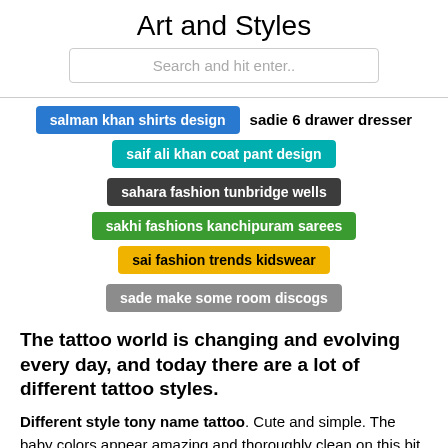Art and Styles
Search and hit enter..
salman khan shirts design
sadie 6 drawer dresser
saif ali khan coat pant design
sahara fashion tunbridge wells
sakhi fashions kanchipuram sarees
sai fashion trends kidswear
sade make some room discogs
The tattoo world is changing and evolving every day, and today there are a lot of different tattoo styles.
Different style tony name tattoo. Cute and simple. The baby colors appear amazing and thoroughly clean on this bit of nail artwork. Great for pajama events or simply hanging out with your girlfriends. With a nod to modern artwork and graphic styles, black nail polish becomes an actual do the job of artwork. “It also has a classy style,” Eunkyung suggests of your graphic design. Ensure you have a steady hand when